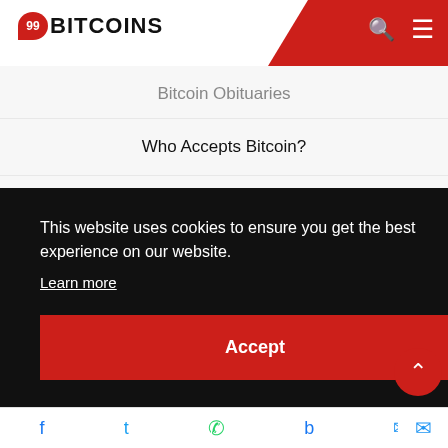99BITCOINS
Bitcoin Obituaries
Who Accepts Bitcoin?
Bitcoin Historical Price
Dead Coins
Guides and Tutorials
This website uses cookies to ensure you get the best experience on our website.
Learn more
Accept